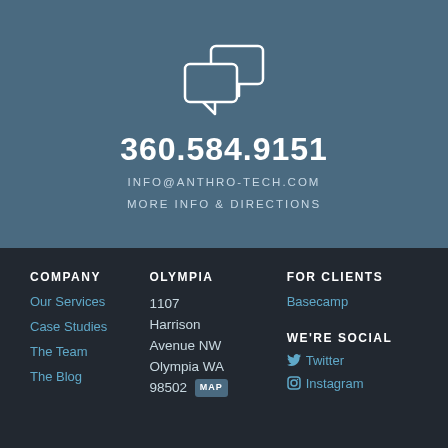[Figure (illustration): Two overlapping speech/chat bubble icons in white outline on blue-grey background]
360.584.9151
INFO@ANTHRO-TECH.COM
MORE INFO & DIRECTIONS
COMPANY
Our Services
Case Studies
The Team
The Blog
OLYMPIA
1107 Harrison Avenue NW Olympia WA 98502
FOR CLIENTS
Basecamp
WE'RE SOCIAL
Twitter
Instagram